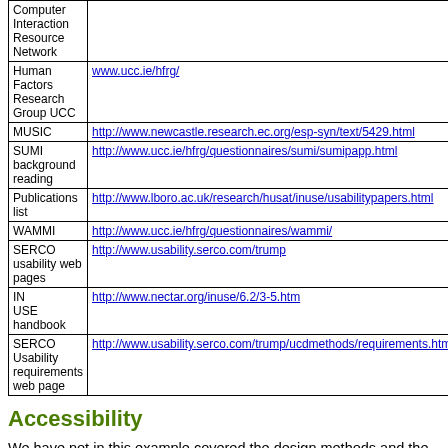| Resource | URL |
| --- | --- |
| Computer Interaction Resource Network |  |
| Human Factors Research Group UCC | www.ucc.ie/hfrg/ |
| MUSIC | http://www.newcastle.research.ec.org/esp-syn/text/5429.html |
| SUMI background reading | http://www.ucc.ie/hfrg/questionnaires/sumi/sumipapp.html |
| Publications list | http://www.lboro.ac.uk/research/husat/inuse/usabilitypapers.html |
| WAMMI | http://www.ucc.ie/hfrg/questionnaires/wammi/ |
| SERCO usability web pages | http://www.usability.serco.com/trump |
| IN USE handbook | http://www.nectar.org/inuse/6.2/3-5.htm |
| SERCO Usability requirements web page | http://www.usability.serco.com/trump/ucdmethods/requirements.html |
Accessibility
We have not in this example covered the design methods and the test methods for website accessibility.  Readers are strongly recommended to use the following resources for information the reasons for designing with accessibility in mind, or tools, checklists and hints for designing and testing for website accessibility: